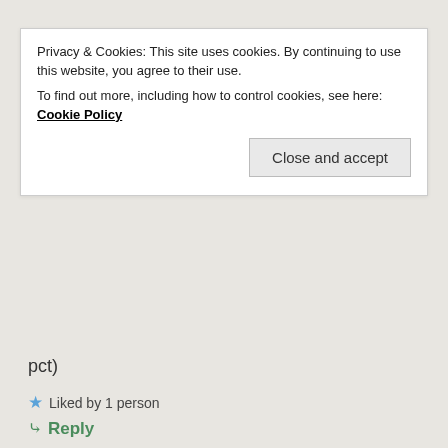Privacy & Cookies: This site uses cookies. By continuing to use this website, you agree to their use. To find out more, including how to control cookies, see here: Cookie Policy
Close and accept
pct)
Liked by 1 person
Reply
EARLYRETIREMENTNOW.COM
March 23, 2018 at 7:54 pm
Thanks, ATL! If the holding period is long enough this should still work. Though I'm not sure about how the rental yield looks in Europe. So many